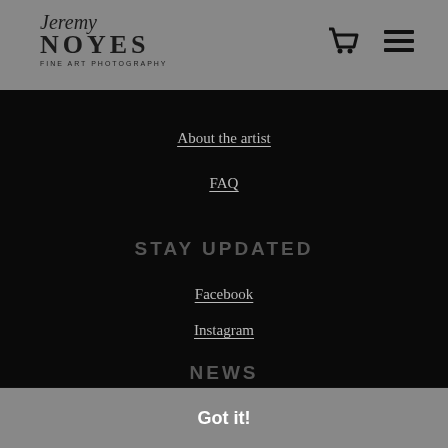Jeremy Noyes Fine Art Photography — navigation header with cart and menu icons
About the artist
FAQ
STAY UPDATED
Facebook
Instagram
NEWS
This website uses cookies to ensure you get the best experience on our website.
Got it!